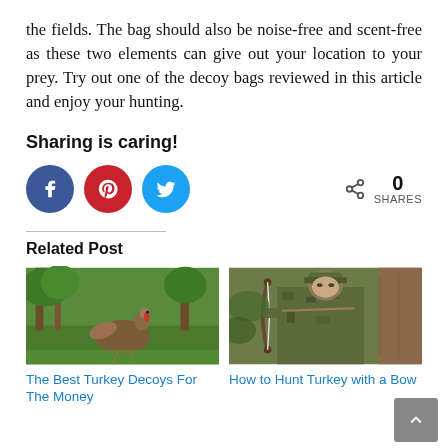the fields. The bag should also be noise-free and scent-free as these two elements can give out your location to your prey. Try out one of the decoy bags reviewed in this article and enjoy your hunting.
Sharing is caring!
[Figure (infographic): Social share buttons: Facebook (blue circle), Pinterest (red circle), Twitter (blue circle), and a share count showing 0 SHARES]
Related Post
[Figure (photo): Photo of a turkey bird standing on grass in a forested area]
[Figure (photo): Photo of a hunter in camouflage holding a bow, positioned against a tree]
The Best Turkey Decoys For The Money
How to Hunt Turkey with a Bow